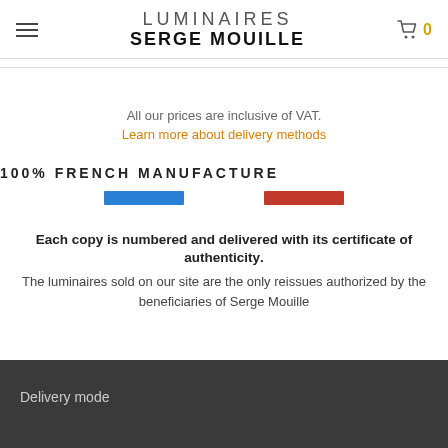LUMINAIRES SERGE MOUILLE
All our prices are inclusive of VAT.
Learn more about delivery methods
100% FRENCH MANUFACTURE
Each copy is numbered and delivered with its certificate of authenticity. The luminaires sold on our site are the only reissues authorized by the beneficiaries of Serge Mouille
Delivery mode